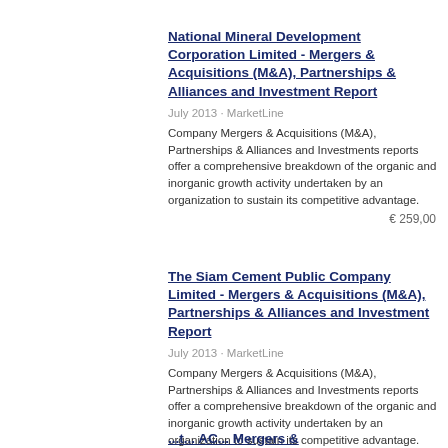National Mineral Development Corporation Limited - Mergers & Acquisitions (M&A), Partnerships & Alliances and Investment Report
July 2013 · MarketLine
Company Mergers & Acquisitions (M&A), Partnerships & Alliances and Investments reports offer a comprehensive breakdown of the organic and inorganic growth activity undertaken by an organization to sustain its competitive advantage.
€ 259,00
The Siam Cement Public Company Limited - Mergers & Acquisitions (M&A), Partnerships & Alliances and Investment Report
July 2013 · MarketLine
Company Mergers & Acquisitions (M&A), Partnerships & Alliances and Investments reports offer a comprehensive breakdown of the organic and inorganic growth activity undertaken by an organization to sustain its competitive advantage.
€ 259,00
... (partial title cut off)